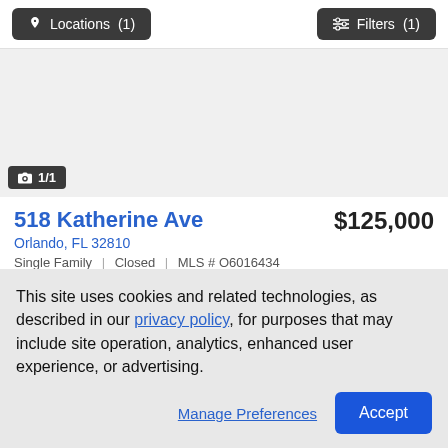Locations (1)   Filters (1)
[Figure (photo): Light gray placeholder image for property listing photo]
1/1
518 Katherine Ave   $125,000
Orlando, FL 32810
Single Family | Closed | MLS # O6016434
This site uses cookies and related technologies, as described in our privacy policy, for purposes that may include site operation, analytics, enhanced user experience, or advertising.
Manage Preferences   Accept